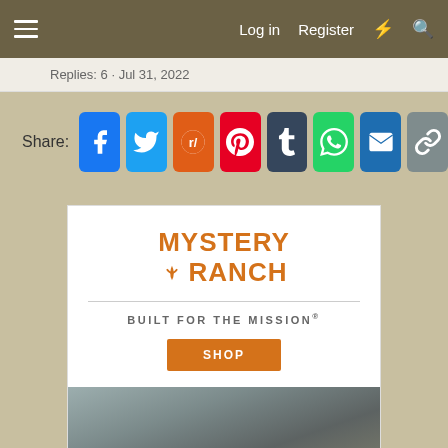Log in  Register
Replies: 6  Jul 31, 2022
Share:
[Figure (advertisement): Mystery Ranch advertisement. Logo in orange text: MYSTERY RANCH. Tagline: BUILT FOR THE MISSION®. Orange SHOP button. Below is a photo of a person with hunting camouflage gear outdoors.]